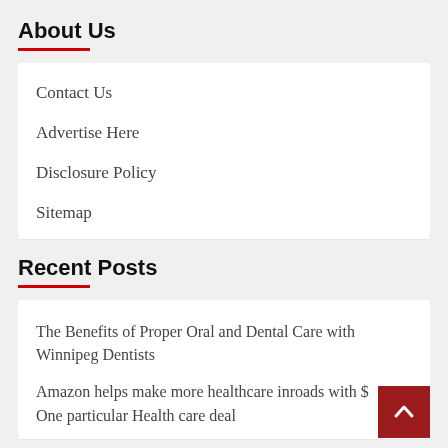About Us
Contact Us
Advertise Here
Disclosure Policy
Sitemap
Recent Posts
The Benefits of Proper Oral and Dental Care with Winnipeg Dentists
Amazon helps make more healthcare inroads with $... One particular Health care deal